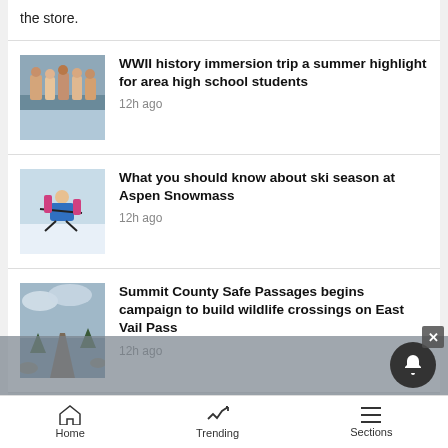the store.
WWII history immersion trip a summer highlight for area high school students
12h ago
What you should know about ski season at Aspen Snowmass
12h ago
Summit County Safe Passages begins campaign to build wildlife crossings on East Vail Pass
12h ago
Outbound Aspen will be detoured from Main
Home   Trending   Sections